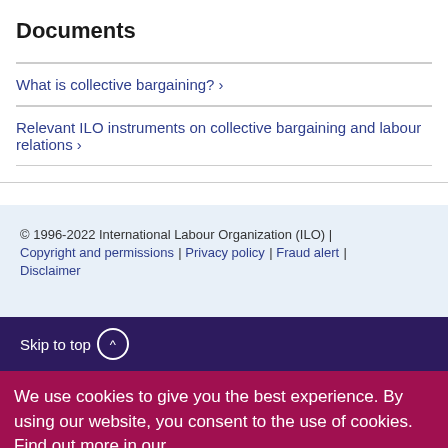Documents
What is collective bargaining? ›
Relevant ILO instruments on collective bargaining and labour relations ›
© 1996-2022 International Labour Organization (ILO) | Copyright and permissions | Privacy policy | Fraud alert | Disclaimer
Skip to top ^
We use cookies to give you the best experience. By using our website, you consent to the use of cookies. Find out more in our privacy policy. OK, I understand